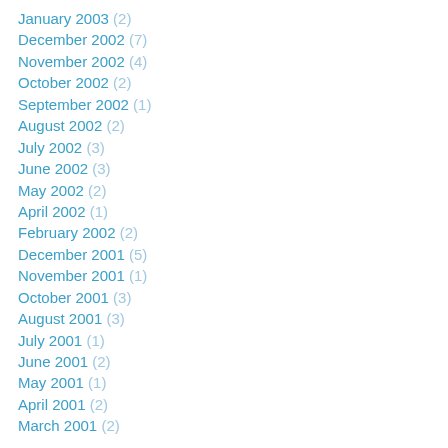January 2003 (2)
December 2002 (7)
November 2002 (4)
October 2002 (2)
September 2002 (1)
August 2002 (2)
July 2002 (3)
June 2002 (3)
May 2002 (2)
April 2002 (1)
February 2002 (2)
December 2001 (5)
November 2001 (1)
October 2001 (3)
August 2001 (3)
July 2001 (1)
June 2001 (2)
May 2001 (1)
April 2001 (2)
March 2001 (2)